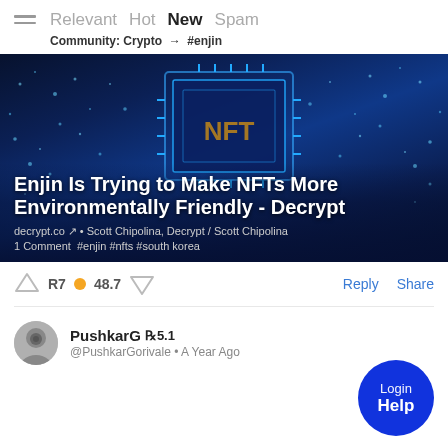Relevant  Hot  New  Spam
Community: Crypto → #enjin
[Figure (photo): Dark blue digital background with glowing NFT chip graphic. Article title overlay: 'Enjin Is Trying to Make NFTs More Environmentally Friendly - Decrypt'. Source: decrypt.co · Scott Chipolina, Decrypt / Scott Chipolina. 1 Comment #enjin #nfts #south korea]
↑ R7 ● 48.7 ↓    Reply   Share
PushkarG R5.1
@PushkarGorivale • A Year Ago
Login
Help